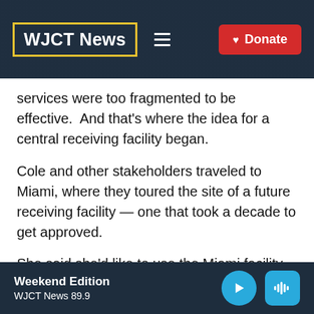WJCT News
services were too fragmented to be effective. And that’s where the idea for a central receiving facility began.
Cole and other stakeholders traveled to Miami, where they toured the site of a future receiving facility — one that took a decade to get approved.
She said she’d like to use the Miami facility
Weekend Edition
WJCT News 89.9